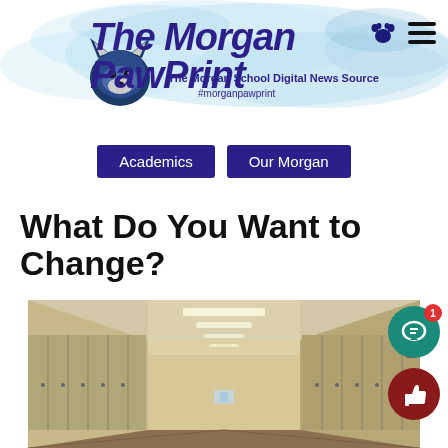The Morgan PawPrint — The Morgan School Digital News Source — #morganpawprint
Academics
Our Morgan
What Do You Want to Change?
[Figure (photo): School hallway with lockers on both sides, fluorescent ceiling lights, perspective view down a long corridor]